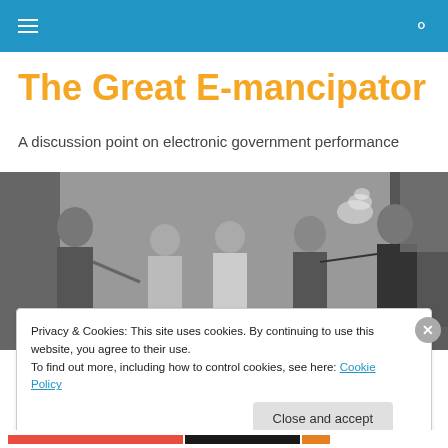The Great E-mancipator navigation bar
The Great E-mancipator
A discussion point on electronic government performance
[Figure (illustration): Historical black and white engraving showing a scene with several figures in 19th century attire, including men in military uniforms and women in period dresses. One figure on the right appears to be gesturing dramatically with smoke visible.]
Privacy & Cookies: This site uses cookies. By continuing to use this website, you agree to their use.
To find out more, including how to control cookies, see here: Cookie Policy
Close and accept